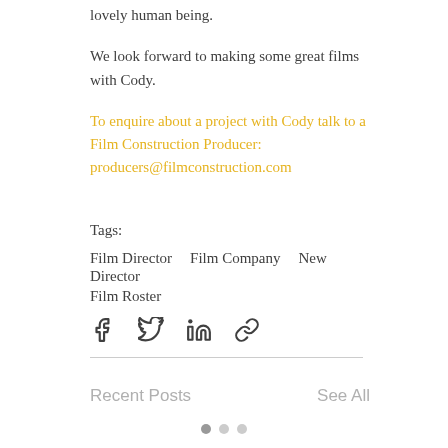lovely human being.
We look forward to making some great films with Cody.
To enquire about a project with Cody talk to a Film Construction Producer: producers@filmconstruction.com
Tags:
Film Director
Film Company
New Director
Film Roster
[Figure (infographic): Social share icons: Facebook, Twitter, LinkedIn, Link]
Recent Posts
See All